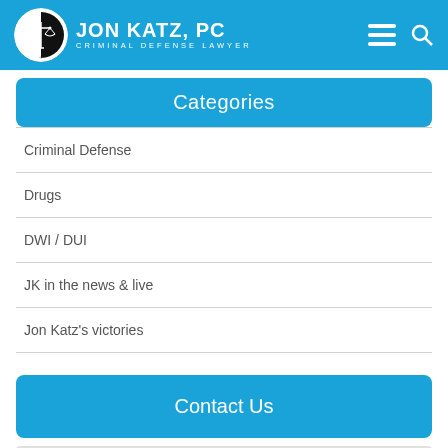JON KATZ, PC - CRIMINAL DEFENSE LAWYER
Categories
Criminal Defense
Drugs
DWI / DUI
JK in the news & live
Jon Katz's victories
Contact Us